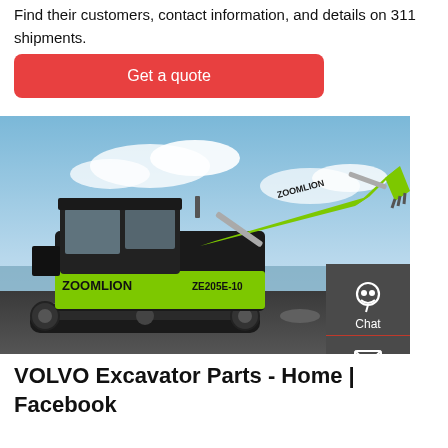Find their customers, contact information, and details on 311 shipments.
Get a quote
[Figure (photo): A Zoomlion ZE205E-10 crawler excavator with bright green arm and black cab, parked on rocky ground with cloudy sky background. A sidebar on the right shows Chat, Email, and Contact icons on a dark grey background.]
VOLVO Excavator Parts - Home | Facebook